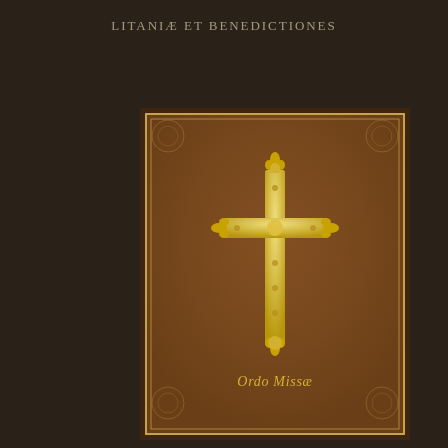LITANIÆ ET BENEDICTIONES
[Figure (photo): A brown leather-bound book cover with gold decorative border and an ornate gold cross in the center. Below the cross the text reads 'Ordo Missæ' in gold lettering. The cover has embossed decorative corner motifs.]